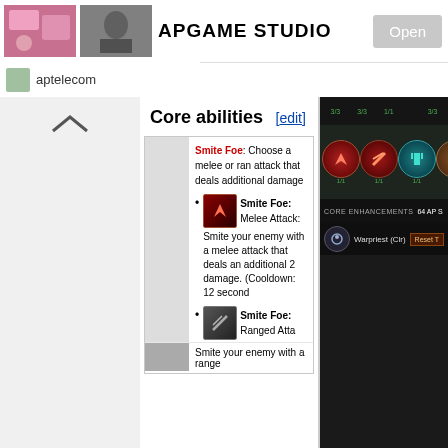APGAME STUDIO  Open
aptelecom
[Figure (screenshot): Game UI screenshot showing skill icons for Warpriest (Clr) character with CORE ENHANCEMENTS bar showing 64 AP and Reset button]
Core abilities [edit]
Smite Foe: Choose a melee or ran attack that deals additional damage
Smite Foe: Melee Attack: Smite your enemy with a melee attack that deals an additional 2 damage. (Cooldown: 12 seconds)
Smite Foe: Ranged Atta: Smite your enemy with a range